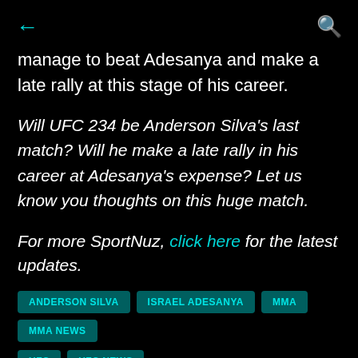← (back)   🔍 (search)
manage to beat Adesanya and make a late rally at this stage of his career.
Will UFC 234 be Anderson Silva's last match? Will he make a late rally in his career at Adesanya's expense? Let us know you thoughts on this huge match.
For more SportNuz, click here for the latest updates.
ANDERSON SILVA
ISRAEL ADESANYA
MMA
MMA NEWS
UFC
UFC NEWS